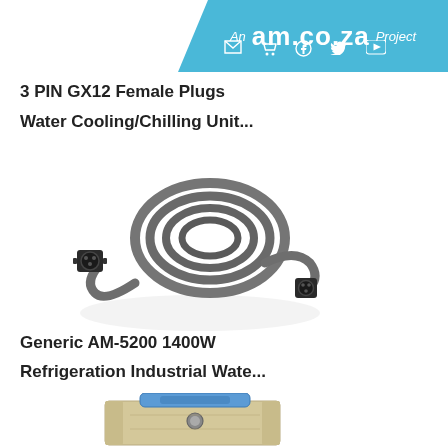An am.co.za Project
3 PIN GX12 Female Plugs
Water Cooling/Chilling Unit...
[Figure (photo): Coiled grey cable with black GX12 female plug connectors at each end]
Generic AM-5200 1400W
Refrigeration Industrial Wate...
[Figure (photo): Partial view of a blue-handled industrial water chilling unit]